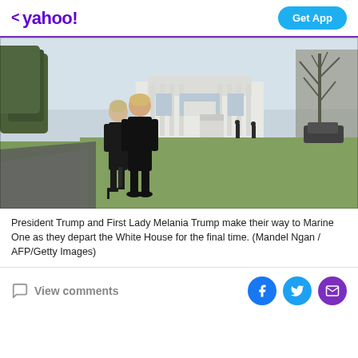< yahoo!   Get App
[Figure (photo): President Trump and First Lady Melania Trump walking on a path outside the White House in winter, departing for the final time. The White House is visible in the background with bare trees and green lawn.]
President Trump and First Lady Melania Trump make their way to Marine One as they depart the White House for the final time. (Mandel Ngan / AFP/Getty Images)
View comments